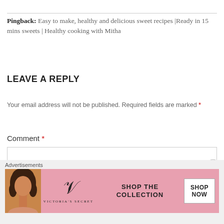Pingback: Easy to make, healthy and delicious sweet recipes |Ready in 15 mins sweets | Healthy cooking with Mitha
LEAVE A REPLY
Your email address will not be published. Required fields are marked *
Comment *
[Figure (other): Empty comment textarea input box]
[Figure (other): Victoria's Secret advertisement banner with 'SHOP THE COLLECTION - SHOP NOW' text and model photo]